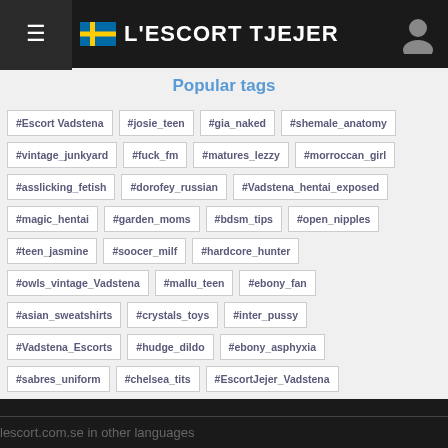L'ESCORT TJEJER
Popular tags
#Escort Vadstena
#josie_teen
#gia_naked
#shemale_anatomy
#vintage_junkyard
#fuck_fm
#matures_lezzy
#morroccan_girl
#asslicking_fetish
#dorofey_russian
#Vadstena_hentai_exposed
#magic_hentai
#garden_moms
#bdsm_tips
#open_nipples
#teen_jasmine
#soocer_milf
#hardcore_hunter
#owls_vintage_Vadstena
#mallu_teen
#ebony_fan
#asian_sweatshirts
#crystals_toys
#inter_pussy
#Vadstena_Escorts
#hudge_dildo
#ebony_asphyxia
#sabres_uniform
#chelsea_tits
#EscortJejer_Vadstena
lescort.com.se in other languages